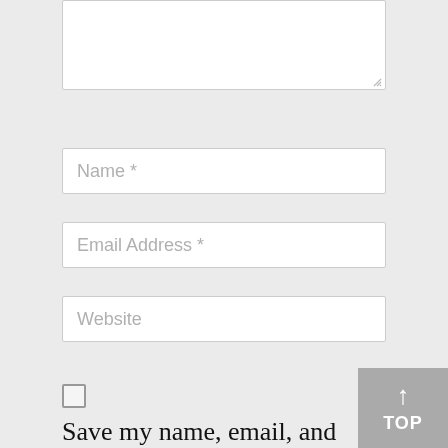[Figure (screenshot): Textarea input box (partially visible at top), partially cropped]
Name *
Email Address *
Website
Save my name, email, and website in this browser for the next time I comment.
↑ TOP